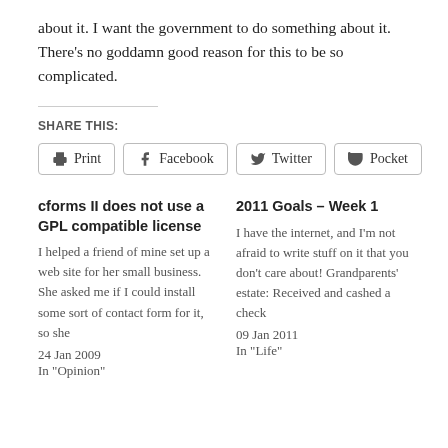about it. I want the government to do something about it.
There's no goddamn good reason for this to be so complicated.
SHARE THIS:
[Figure (other): Share buttons: Print, Facebook, Twitter, Pocket]
cforms II does not use a GPL compatible license
I helped a friend of mine set up a web site for her small business. She asked me if I could install some sort of contact form for it, so she
24 Jan 2009
In "Opinion"
2011 Goals – Week 1
I have the internet, and I'm not afraid to write stuff on it that you don't care about! Grandparents' estate: Received and cashed a check
09 Jan 2011
In "Life"